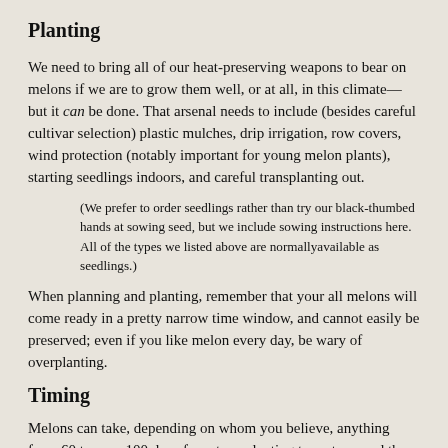Planting
We need to bring all of our heat-preserving weapons to bear on melons if we are to grow them well, or at all, in this climate—but it can be done. That arsenal needs to include (besides careful cultivar selection) plastic mulches, drip irrigation, row covers, wind protection (notably important for young melon plants), starting seedlings indoors, and careful transplanting out.
(We prefer to order seedlings rather than try our black-thumbed hands at sowing seed, but we include sowing instructions here. All of the types we listed above are normallyavailable as seedlings.)
When planning and planting, remember that your all melons will come ready in a pretty narrow time window, and cannot easily be preserved; even if you like melon every day, be wary of overplanting.
Timing
Melons can take, depending on whom you believe, anything from 60 to over 100 days from transplanting to mature, and they don't